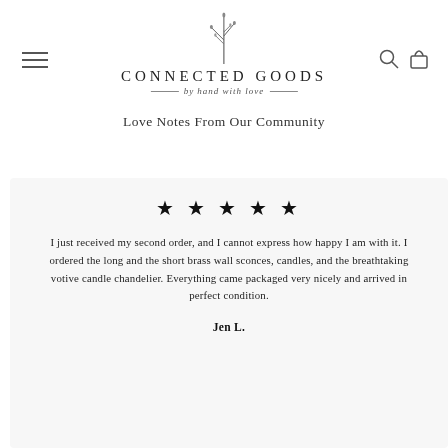CONNECTED GOODS by hand with love
Love Notes From Our Community
★★★★★
I just received my second order, and I cannot express how happy I am with it. I ordered the long and the short brass wall sconces, candles, and the breathtaking votive candle chandelier. Everything came packaged very nicely and arrived in perfect condition.
Jen L.